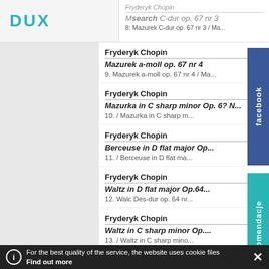DUX
search | Mazurek C-dur op. 67 nr 3
8: Mazurek C-dur op. 67 nr 3 / Ma...
Fryderyk Chopin
Mazurek a-moll op. 67 nr 4
9. Mazurek a-moll op. 67 nr 4 / Ma...
Fryderyk Chopin
Mazurka in C sharp minor Op. 6? N...
10. / Mazurka in C sharp m...
Fryderyk Chopin
Berceuse in D flat major Op...
11. / Berceuse in D flat ma...
Fryderyk Chopin
Waltz in D flat major Op.64...
12. Walc Des-dur op. 64 nr...
Fryderyk Chopin
Waltz in C sharp minor Op....
13. / Waltz in C sharp mino...
Fryderyk Chopin
Waltz in F major Op. 34 No. 3
14. / Waltz in F major Op. 34 No. 3...
Fryderyk Chopin
For the best quality of the service, the website uses cookie files Find out more